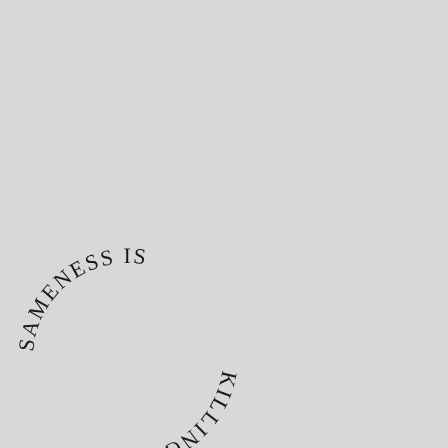[Figure (illustration): Text arranged in a circular arc reading 'SAMENESS IS KILLING US' in serif/mixed-serif font, displayed on a light grey background. The text curves around a circle positioned in the lower-left area of the page, with 'SAMENESS IS' reading along the top arc and 'KILLING US' reading along the bottom arc (upside down), giving the appearance of a circular stamp or logo.]